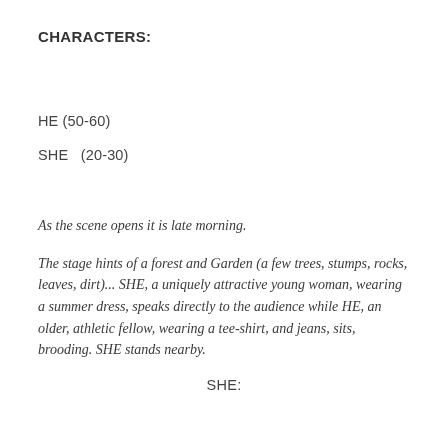CHARACTERS:
HE (50-60)
SHE  (20-30)
As the scene opens it is late morning.
The stage hints of a forest and Garden (a few trees, stumps, rocks, leaves, dirt)... SHE, a uniquely attractive young woman, wearing a summer dress, speaks directly to the audience while HE, an older, athletic fellow, wearing a tee-shirt, and jeans, sits, brooding. SHE stands nearby.
SHE: